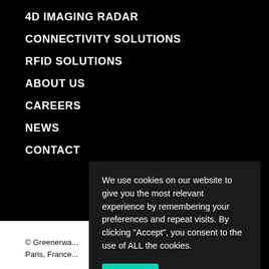4D IMAGING RADAR
CONNECTIVITY SOLUTIONS
RFID SOLUTIONS
ABOUT US
CAREERS
NEWS
CONTACT
We use cookies on our website to give you the most relevant experience by remembering your preferences and repeat visits. By clicking “Accept”, you consent to the use of ALL the cookies.
Accept  Reject
© Greenerwa...
Paris, France...